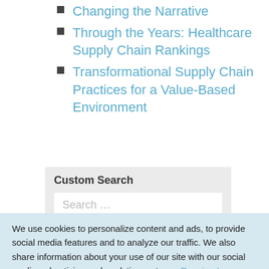Changing the Narrative
Through the Years: Healthcare Supply Chain Rankings
Transformational Supply Chain Practices for a Value-Based Environment
Custom Search
Search ...
We use cookies to personalize content and ads, to provide social media features and to analyze our traffic. We also share information about your use of our site with our social media, advertising and analytics partners. Premier, Inc Privacy Policy